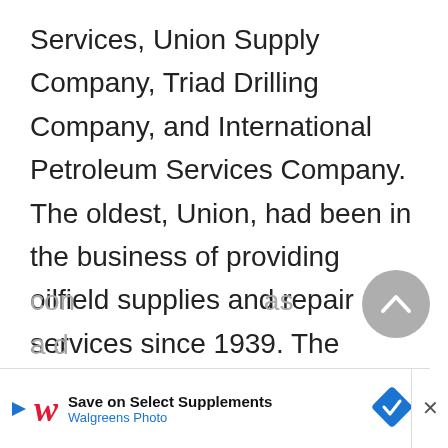Services, Union Supply Company, Triad Drilling Company, and International Petroleum Services Company. The oldest, Union, had been in the business of providing oilfield supplies and repair services since 1939. The oldest subsidiary devoted to contract drilling was Triad, commencing operations in 1947. Starting in 1995 UTI decided to focus on expanding its share of the con... as a d...